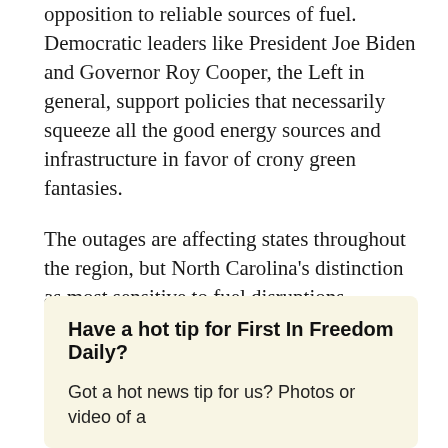opposition to reliable sources of fuel. Democratic leaders like President Joe Biden and Governor Roy Cooper, the Left in general, support policies that necessarily squeeze all the good energy sources and infrastructure in favor of crony green fantasies.
The outages are affecting states throughout the region, but North Carolina's distinction as most sensitive to fuel disruptions certainly is no way alleviated by having an opponent of reliable energy and free markets at the helm.
Have a hot tip for First In Freedom Daily?
Got a hot news tip for us? Photos or video of a